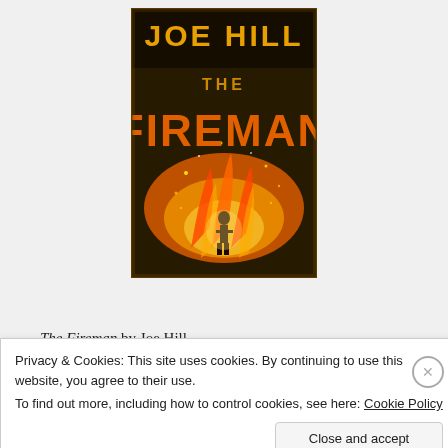[Figure (illustration): Book cover of 'The Fireman' by Joe Hill, showing large golden text 'JOE HILL' and 'THE FIREMAN' on a dark/black background with a dramatic fire scene — a figure standing in flames with sparks and fire surrounding them.]
The Fireman by Joe Hill
Privacy & Cookies: This site uses cookies. By continuing to use this website, you agree to their use.
To find out more, including how to control cookies, see here: Cookie Policy
Close and accept